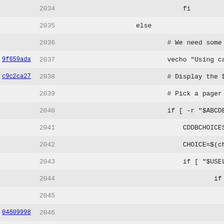[Figure (screenshot): Code blame view showing lines 2034-2066 of a shell script with commit hashes 9f659ada, c9c2ca27, 04609998, c9c2ca27 on the left, line numbers in the middle, and code content on the right. The code shows shell script logic with if/else/fi statements, vecho, CDDBCHOICES, CHOICE, USELO variables.]